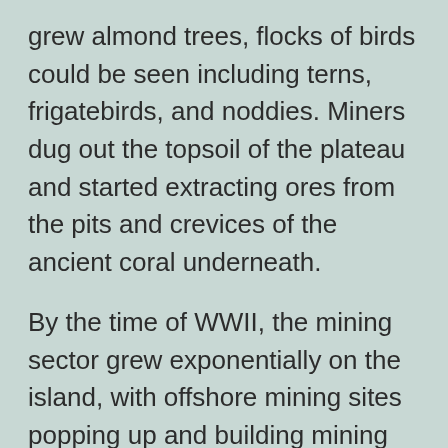grew almond trees, flocks of birds could be seen including terns, frigatebirds, and noddies. Miners dug out the topsoil of the plateau and started extracting ores from the pits and crevices of the ancient coral underneath.
By the time of WWII, the mining sector grew exponentially on the island, with offshore mining sites popping up and building mining structures, mechanizing mining, and ramping up the phosphate exports.
By the early 1920s, Nauru was exporting 200,000 metric tons of phosphate per year.